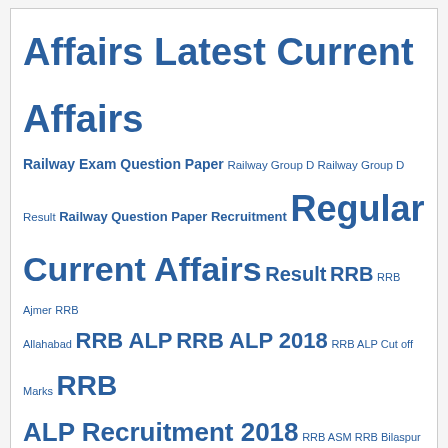Affairs Latest Current Affairs Railway Exam Question Paper Railway Group D Railway Group D Result Railway Question Paper Recruitment Regular Current Affairs Result RRB RRB Ajmer RRB Allahabad RRB ALP RRB ALP 2018 RRB ALP Cut off Marks RRB ALP Recruitment 2018 RRB ASM RRB Bilaspur RRB Group D RRB Group D Application Status RRB Group D Cut off RRB JE RRB NTPC RRB Question Paper RRB Question Paper ALP RRB Result RRB Result 2018 RRB SSE SSC SSC CGL SSC CHSL 2017 SSC CHSL 2017 Admit Card SSC CHSL 2017 Admit Card Download SSC CHSL Admit Card SSC CPO SI 2018 SSC GD Constable SSC GD Constable 2018 SSC MTS Syllabus UPSC
Latest Comments
Venugopal on RRB Group D Medical Test 2019: Details of Physical Test, Vision Test & Medical Standards -Check Here
Suhani Mahakud on RRC WR Merit List 2020 : Railway Act